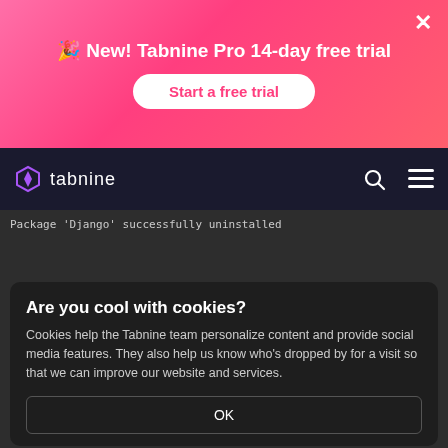[Figure (screenshot): Pink gradient promotional banner for Tabnine Pro 14-day free trial with a 'Start a free trial' button and close X button]
[Figure (screenshot): Dark navigation bar with Tabnine logo (purple hexagonal icon), search icon, and hamburger menu icon on black background]
[Figure (screenshot): Dark IDE-like content area showing 'Package Django successfully uninstalled' message]
[Figure (screenshot): Cookie consent dialog with title 'Are you cool with cookies?', description text about cookies, and an OK button]